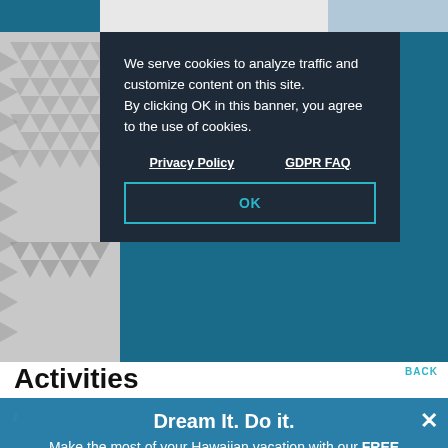We serve cookies to analyze traffic and customize content on this site. By clicking OK in this banner, you agree to the use of cookies.
Privacy Policy   GDPR FAQ
OK
Activities
BACK
Dream It. Do it.
Make the most of your Hawaiian vacation with our FREE Official Visitors' Guide.
×
Filter Results
LET'S GO